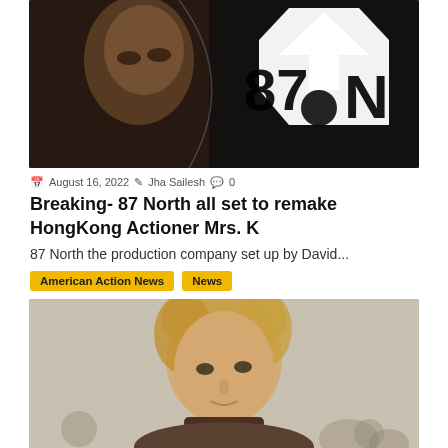[Figure (photo): Dark cinematic photo of a person with a large '87N' logo graphic (arrow pointing up, stylized letters) in black and white overlay]
August 16, 2022  Jha Sailesh  0
Breaking- 87 North all set to remake HongKong Actioner Mrs. K
87 North the production company set up by David...
American Action News  News
[Figure (photo): Portrait photo of a blonde man (Michael Bay) in front of a blurred outdoor background]